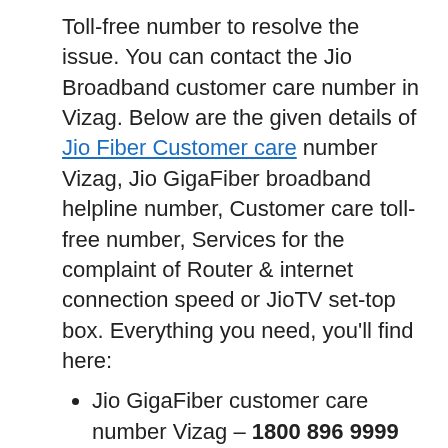Toll-free number to resolve the issue. You can contact the Jio Broadband customer care number in Vizag. Below are the given details of Jio Fiber Customer care number Vizag, Jio GigaFiber broadband helpline number, Customer care toll-free number, Services for the complaint of Router & internet connection speed or JioTV set-top box. Everything you need, you'll find here:
Jio GigaFiber customer care number Vizag – 1800 896 9999
To get Jio Fibers in Vizag, call – 1800 103 8877 (Timings : 9:30 – 21:30)
Customer care numbers for Jio users – 199 or 198
For Jio Corporate customers, Dial – 1800 889 9333